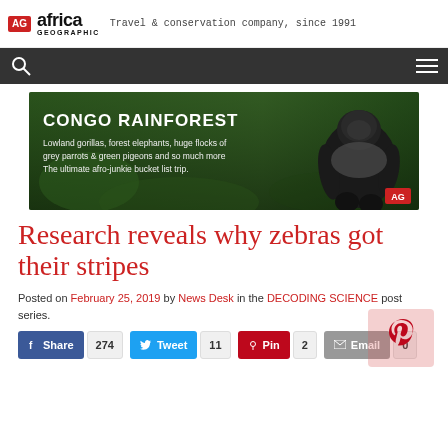AG africa GEOGRAPHIC — Travel & conservation company, since 1991
[Figure (screenshot): Navigation bar with search icon and hamburger menu on dark background]
[Figure (photo): Congo Rainforest advertisement banner with gorilla image. Text: CONGO RAINFOREST — Lowland gorillas, forest elephants, huge flocks of grey parrots & green pigeons and so much more. The ultimate afro-junkie bucket list trip.]
Research reveals why zebras got their stripes
Posted on February 25, 2019 by News Desk in the DECODING SCIENCE post series.
Share 274  Tweet 11  Pin 2  Email 0